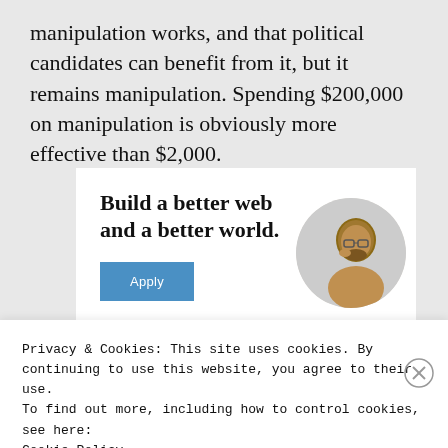manipulation works, and that political candidates can benefit from it, but it remains manipulation. Spending $200,000 on manipulation is obviously more effective than $2,000.
[Figure (illustration): Advertisement banner with bold headline 'Build a better web and a better world.' with a blue Apply button and a circular portrait photo of a Black man wearing glasses.]
Privacy & Cookies: This site uses cookies. By continuing to use this website, you agree to their use.
To find out more, including how to control cookies, see here:
Cookie Policy